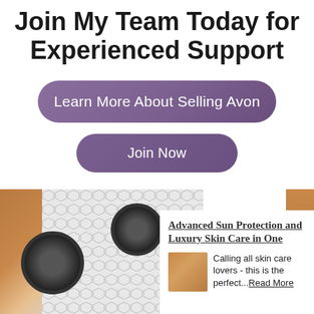Join My Team Today for Experienced Support
Learn More About Selling Avon
Join Now
[Figure (photo): Bottom section with product images: golden/bronze background on left with hexagon tile pattern, black camera lens circles, content card overlay on right]
Advanced Sun Protection and Luxury Skin Care in One
Calling all skin care lovers - this is the perfect...Read More